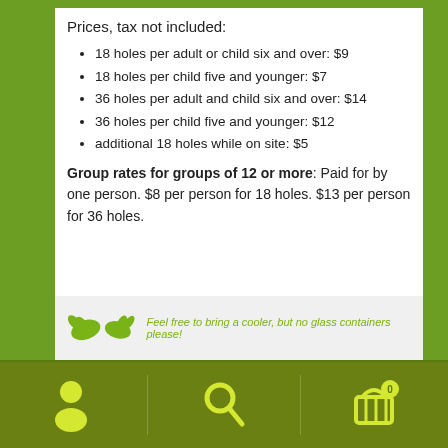Prices, tax not included:
18 holes per adult or child six and over: $9
18 holes per child five and younger: $7
36 holes per adult and child six and over: $14
36 holes per child five and younger: $12
additional 18 holes while on site: $5
Group rates for groups of 12 or more: Paid for by one person. $8 per person for 18 holes. $13 per person for 36 holes.
[Figure (illustration): Two green hand/leaf icons side by side with text: Feel free to bring a cooler, but no glass containers please!]
[Figure (illustration): Bottom navigation bar with yellow icons: person/account icon, search magnifier icon, and shopping basket icon with '0' badge, on olive-green background]